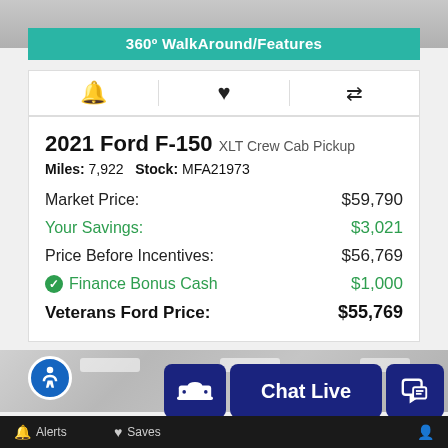[Figure (screenshot): Top strip showing partial car dealership photo background (grayscale)]
360º WalkAround/Features
[Figure (infographic): Icon row with bell (alerts), heart (save), and compare arrows icons]
2021 Ford F-150 XLT Crew Cab Pickup
Miles: 7,922   Stock: MFA21973
Market Price: $59,790
Your Savings: $3,021
Price Before Incentives: $56,769
Finance Bonus Cash $1,000
Veterans Ford Price: $55,769
[Figure (photo): Grayscale photo of car dealership interior showroom]
Alerts  Saves  Chat Live